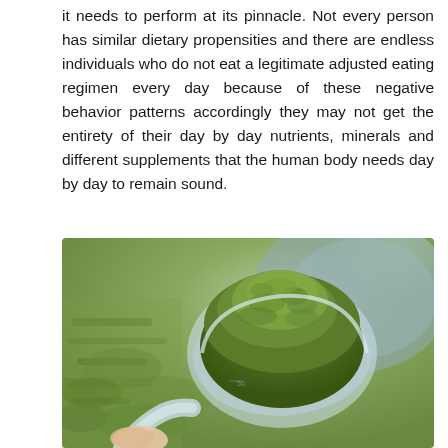it needs to perform at its pinnacle. Not every person has similar dietary propensities and there are endless individuals who do not eat a legitimate adjusted eating regimen every day because of these negative behavior patterns accordingly they may not get the entirety of their day by day nutrients, minerals and different supplements that the human body needs day by day to remain sound.
[Figure (photo): Close-up photo of a measuring scoop filled with green powder (likely spirulina or similar supplement), held by a hand, with more green powder visible in the background on a plate.]